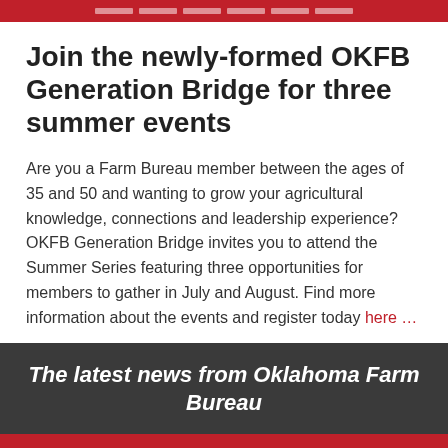[Figure (other): Red banner header with white dashes/dividers across the top of the page]
Join the newly-formed OKFB Generation Bridge for three summer events
Are you a Farm Bureau member between the ages of 35 and 50 and wanting to grow your agricultural knowledge, connections and leadership experience? OKFB Generation Bridge invites you to attend the Summer Series featuring three opportunities for members to gather in July and August. Find more information about the events and register today here …
The latest news from Oklahoma Farm Bureau